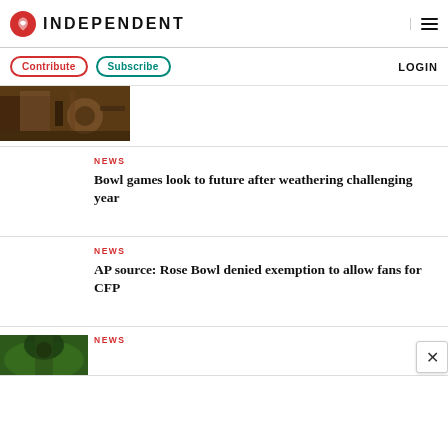INDEPENDENT
Contribute  Subscribe  LOGIN
[Figure (photo): Partial top image showing mechanical/industrial scene in brown tones]
NEWS
Bowl games look to future after weathering challenging year
NEWS
AP source: Rose Bowl denied exemption to allow fans for CFP
NEWS
[Figure (photo): Partial bottom image showing green/nature scene]